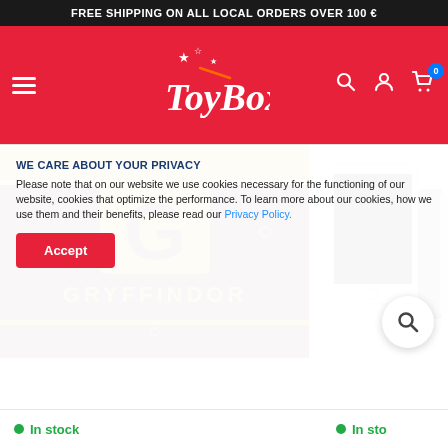FREE SHIPPING ON ALL LOCAL ORDERS OVER 100 €
[Figure (logo): ToyBox logo with stars on red navigation bar]
[Figure (photo): Gryffindor branded folder/notebook with gold G letter and GRYFFINDOR text on dark red background]
[Figure (photo): White tablet/e-reader device shown from back]
WE CARE ABOUT YOUR PRIVACY
Please note that on our website we use cookies necessary for the functioning of our website, cookies that optimize the performance. To learn more about our cookies, how we use them and their benefits, please read our Privacy Policy.
Accept
In stock
In sto...